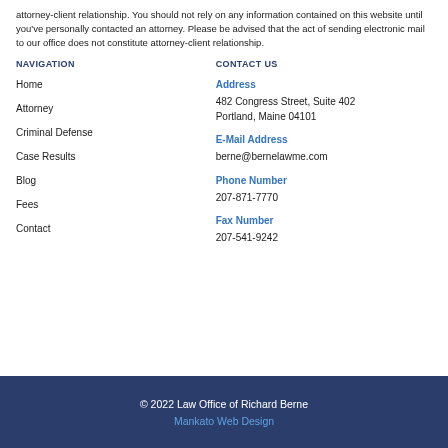attorney-client relationship. You should not rely on any information contained on this website until you've personally contacted an attorney. Please be advised that the act of sending electronic mail to our office does not constitute attorney-client relationship.
NAVIGATION
Home
Attorney
Criminal Defense
Case Results
Blog
Fees
Contact
CONTACT US
Address
482 Congress Street, Suite 402
Portland, Maine 04101
E-Mail Address
berne@bernelawme.com
Phone Number
207-871-7770
Fax Number
207-541-9242
© 2022 Law Office of Richard Berne
Mankato Web Design